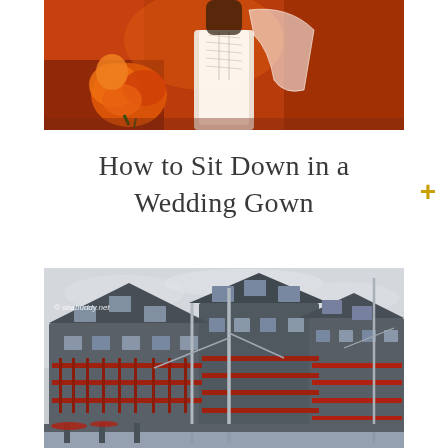[Figure (photo): Close-up photo of a bride from the waist down wearing a white wedding gown with corset lacing and veil, holding an orange and red floral bouquet, against an orange/red background]
How to Sit Down in a Wedding Gown
[Figure (photo): Photograph of a waterfront hotel or marina building with grey/dark siding, multiple floors with red railings and balconies, sailboat masts in the foreground, overcast sky. Watermark reads: © seabuddy.net]